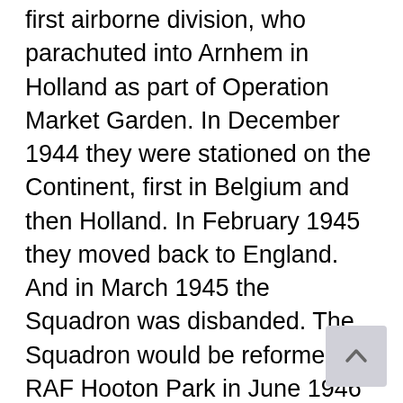first airborne division, who parachuted into Arnhem in Holland as part of Operation Market Garden. In December 1944 they were stationed on the Continent, first in Belgium and then Holland. In February 1945 they moved back to England. And in March 1945 the Squadron was disbanded. The Squadron would be reformed at RAF Hooton Park in June 1946 flying first Spitfire Mk14's and then Spitfire Mk22's, then in 1951 Gloster Meteors Mk4's and in 1952 Gloster Meteors Mk 8's. The Squadron disbanded again in 1957.